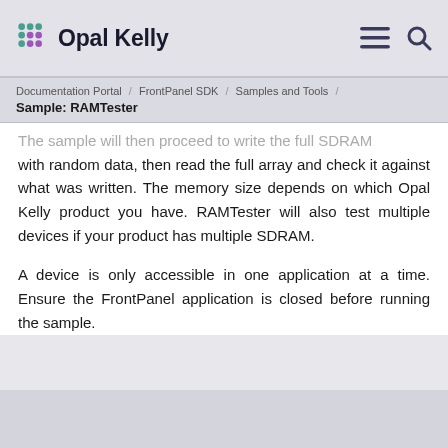Opal Kelly
Documentation Portal / FrontPanel SDK / Samples and Tools / Sample: RAMTester
The sample will then proceed to write the full SDRAM with random data, then read the full array and check it against what was written. The memory size depends on which Opal Kelly product you have. RAMTester will also test multiple devices if your product has multiple SDRAM.
A device is only accessible in one application at a time. Ensure the FrontPanel application is closed before running the sample.